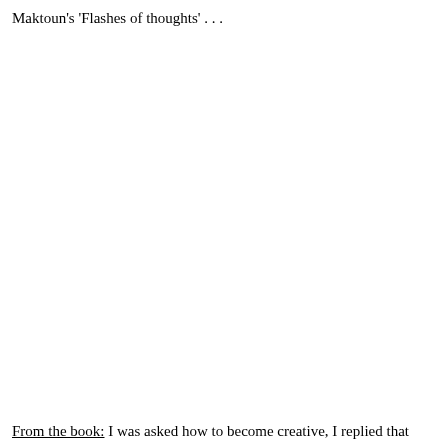Maktoun's 'Flashes of thoughts' . . .
From the book: I was asked how to become creative, I replied that